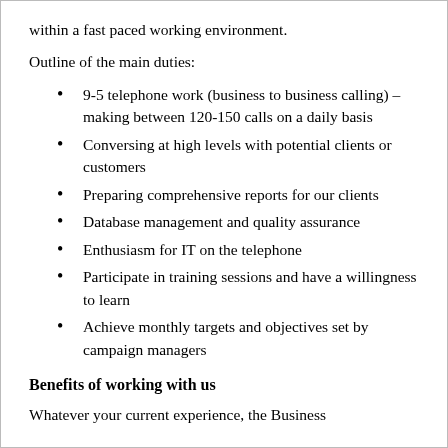within a fast paced working environment.
Outline of the main duties:
9-5 telephone work (business to business calling) – making between 120-150 calls on a daily basis
Conversing at high levels with potential clients or customers
Preparing comprehensive reports for our clients
Database management and quality assurance
Enthusiasm for IT on the telephone
Participate in training sessions and have a willingness to learn
Achieve monthly targets and objectives set by campaign managers
Benefits of working with us
Whatever your current experience, the Business